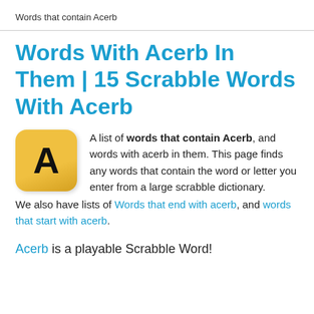Words that contain Acerb
Words With Acerb In Them | 15 Scrabble Words With Acerb
[Figure (illustration): Yellow Scrabble tile with letter A on it, rounded square shape with gradient background]
A list of words that contain Acerb, and words with acerb in them. This page finds any words that contain the word or letter you enter from a large scrabble dictionary. We also have lists of Words that end with acerb, and words that start with acerb.
Acerb is a playable Scrabble Word!